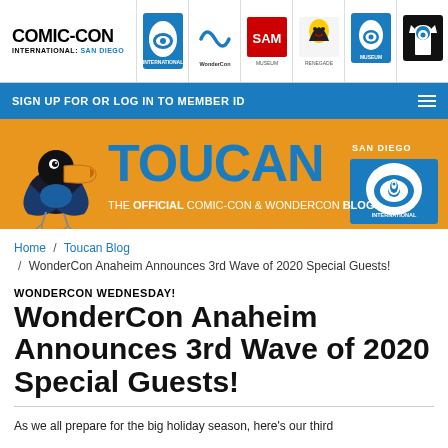COMIC-CON INTERNATIONAL: SAN DIEGO — navigation bar with icons
SIGN UP FOR OR LOG IN TO MEMBER ID
[Figure (illustration): Toucan Blog banner — orange background with cartoon toucan bird on the left, large blue TOUCAN text in center, 'THE OFFICIAL COMIC-CON & WONDERCON BLOG!' subtitle, San Diego Comic-Con International logo on the right]
Home / Toucan Blog / WonderCon Anaheim Announces 3rd Wave of 2020 Special Guests!
WONDERCON WEDNESDAY!
WonderCon Anaheim Announces 3rd Wave of 2020 Special Guests!
As we all prepare for the big holiday season, here's our third